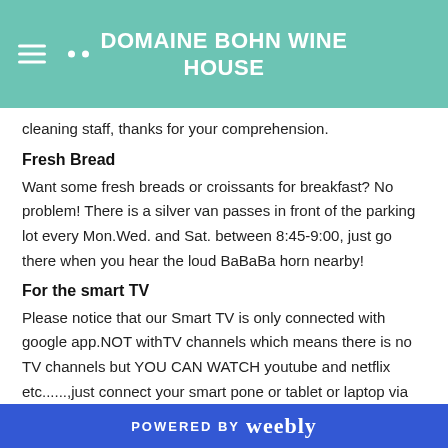DOMAINE BOHN WINE HOUSE
cleaning staff, thanks for your comprehension.
Fresh Bread
Want some fresh breads or croissants for breakfast? No problem! There is a silver van passes in front of the parking lot every Mon.Wed. and Sat. between 8:45-9:00, just go there when you hear the loud BaBaBa horn nearby!
For the smart TV
Please notice that our Smart TV is only connected with google app.NOT withTV channels which means there is no TV channels but YOU CAN WATCH youtube and netflix etc......,just connect your smart pone or tablet or laptop via chromecast.
Want to see movies during holiday? No problem! With
POWERED BY weebly